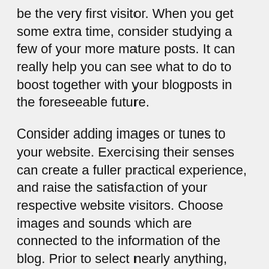be the very first visitor. When you get some extra time, consider studying a few of your more mature posts. It can really help you can see what to do to boost together with your blogposts in the foreseeable future.
Consider adding images or tunes to your website. Exercising their senses can create a fuller practical experience, and raise the satisfaction of your respective website visitors. Choose images and sounds which are connected to the information of the blog. Prior to select nearly anything, ensure that you might be not in infringement of the copyright laws laws.
These suggestions are one of the issues you